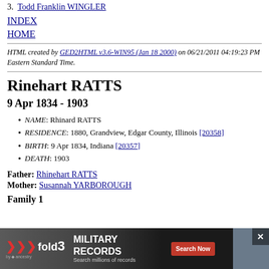3.  Todd Franklin WINGLER
INDEX
HOME
HTML created by GED2HTML v3.6-WIN95 (Jan 18 2000) on 06/21/2011 04:19:23 PM Eastern Standard Time.
Rinehart RATTS
9 Apr 1834 - 1903
NAME: Rhinard RATTS
RESIDENCE: 1880, Grandview, Edgar County, Illinois [20358]
BIRTH: 9 Apr 1834, Indiana [20357]
DEATH: 1903
Father: Rhinehart RATTS
Mother: Susannah YARBOROUGH
Family 1
[Figure (infographic): fold3 by Ancestry advertisement banner for Military Records with Search Now button]